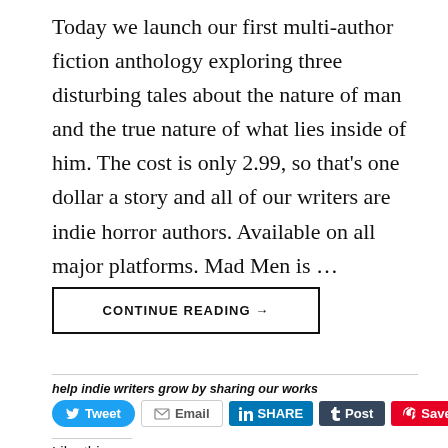Today we launch our first multi-author fiction anthology exploring three disturbing tales about the nature of man and the true nature of what lies inside of him. The cost is only 2.99, so that's one dollar a story and all of our writers are indie horror authors. Available on all major platforms. Mad Men is …
CONTINUE READING →
help indie writers grow by sharing our works
[Figure (screenshot): Social share buttons: Tweet (Twitter), Email, Share (LinkedIn), Post (Tumblr), Save (Pinterest)]
Like this: